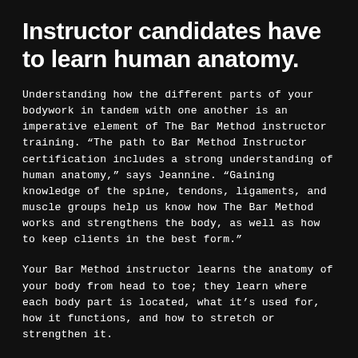Instructor candidates have to learn human anatomy.
Understanding how the different parts of your bodywork in tandem with one another is an imperative element of The Bar Method instructor training. “The path to Bar Method Instructor certification includes a strong understanding of human anatomy,” says Jeannine. “Gaining knowledge of the spine, tendons, ligaments, and muscle groups help us know how The Bar Method works and strengthens the body, as well as how to keep clients in the best form.”
Your Bar Method instructor learns the anatomy of your body from head to toe; they learn where each body part is located, what it’s used for, how it functions, and how to stretch or strengthen it.